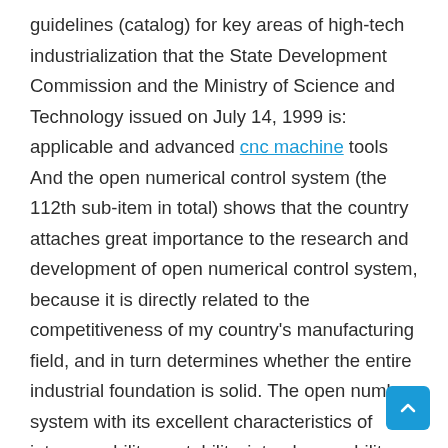guidelines (catalog) for key areas of high-tech industrialization that the State Development Commission and the Ministry of Science and Technology issued on July 14, 1999 is: applicable and advanced cnc machine tools And the open numerical control system (the 112th sub-item in total) shows that the country attaches great importance to the research and development of open numerical control system, because it is directly related to the competitiveness of my country's manufacturing field, and in turn determines whether the entire industrial foundation is solid. The open number system with its excellent characteristics of interoperability, portability, interchangeability and scalability, facilitates the system integration of various control requirements